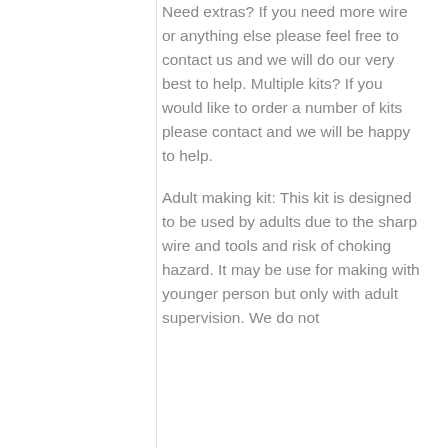Need extras? If you need more wire or anything else please feel free to contact us and we will do our very best to help. Multiple kits? If you would like to order a number of kits please contact and we will be happy to help.
Adult making kit: This kit is designed to be used by adults due to the sharp wire and tools and risk of choking hazard. It may be use for making with younger person but only with adult supervision. We do not